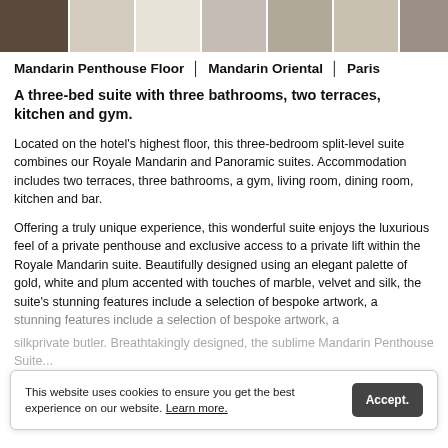[Figure (photo): Strip of seven hotel room thumbnail photos showing various views of the Mandarin Penthouse suite]
Mandarin Penthouse Floor | Mandarin Oriental | Paris
A three-bed suite with three bathrooms, two terraces, kitchen and gym.
Located on the hotel's highest floor, this three-bedroom split-level suite combines our Royale Mandarin and Panoramic suites. Accommodation includes two terraces, three bathrooms, a gym, living room, dining room, kitchen and bar.
Offering a truly unique experience, this wonderful suite enjoys the luxurious feel of a private penthouse and exclusive access to a private lift within the Royale Mandarin suite. Beautifully designed using an elegant palette of gold, white and plum accented with touches of marble, velvet and silk, the suite's stunning features include a selection of bespoke artwork, a private butler. Breathtakingly designed, the sublime Mandarin Penthouse Suite...
This website uses cookies to ensure you get the best experience on our website. Learn more.